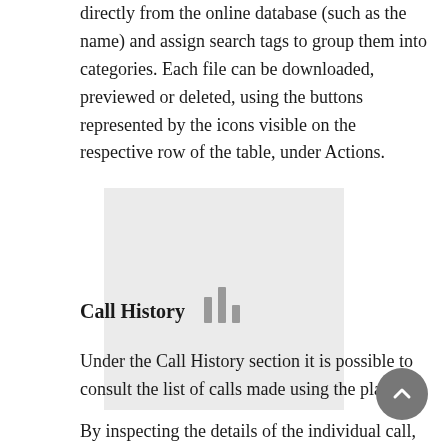directly from the online database (such as the name) and assign search tags to group them into categories. Each file can be downloaded, previewed or deleted, using the buttons represented by the icons visible on the respective row of the table, under Actions.
[Figure (screenshot): A light gray placeholder box with a dark gray bar chart icon in the center, representing an image or screenshot placeholder.]
Call History
Under the Call History section it is possible to consult the list of calls made using the platform.
By inspecting the details of the individual call, using